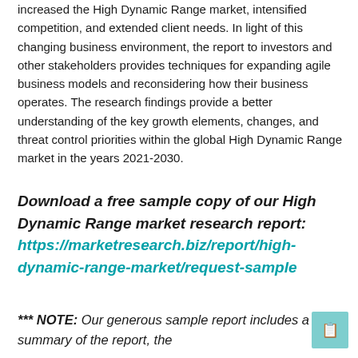increased the High Dynamic Range market, intensified competition, and extended client needs. In light of this changing business environment, the report to investors and other stakeholders provides techniques for expanding agile business models and reconsidering how their business operates. The research findings provide a better understanding of the key growth elements, changes, and threat control priorities within the global High Dynamic Range market in the years 2021-2030.
Download a free sample copy of our High Dynamic Range market research report: https://marketresearch.biz/report/high-dynamic-range-market/request-sample
*** NOTE: Our generous sample report includes a brief summary of the report, the